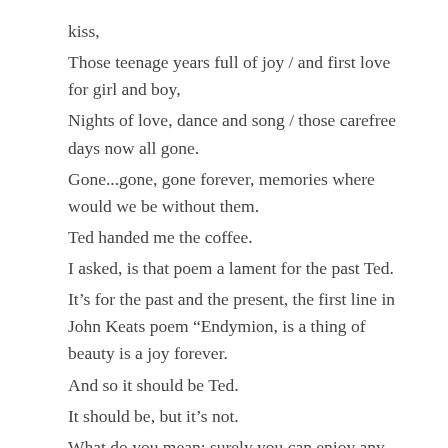kiss,
Those teenage years full of joy / and first love for girl and boy,
Nights of love, dance and song / those carefree days now all gone.
Gone...gone, gone forever, memories where would we be without them.
Ted handed me the coffee.
I asked, is that poem a lament for the past Ted.
It’s for the past and the present, the first line in John Keats poem “Endymion, is a thing of beauty is a joy forever.
And so it should be Ted.
It should be, but it’s not.
What do you mean; surely you can enjoy any form of beauty you like.23
You would think so, but I’m only allowed to enjoy some